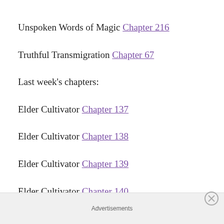Unspoken Words of Magic Chapter 216
Truthful Transmigration Chapter 67
Last week's chapters:
Elder Cultivator Chapter 137
Elder Cultivator Chapter 138
Elder Cultivator Chapter 139
Elder Cultivator Chapter 140
Elder Cultivator Chapter 141
Elder Cultivator Chapter 142
Advertisements